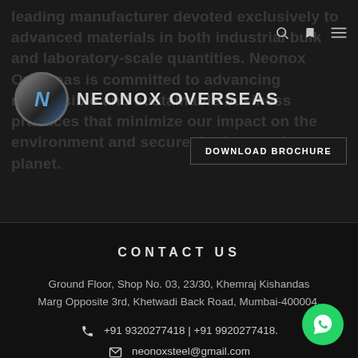[Figure (logo): Neonox Overseas company logo with circular N emblem and company name]
leading manufacturer devoted exclusively to advanced materials in both industrial bulk and laboratory-scale quantities. Neonox Overseas is committed to advancing responsible and sustainable business practices that minimize our impact on the environment and secure the future of our planet.
DOWNLOAD BROCHURE
CONTACT US
Ground Floor, Shop No. 03, 23/30, Khemraj Kishandas Marg Opposite 3rd, Khetwadi Back Road, Mumbai-400004.
+91 9320277418 | +91 9920277418.
neonoxsteel@gmail.com
neonox.in
Mon. - Fri. 8AM - 8PM